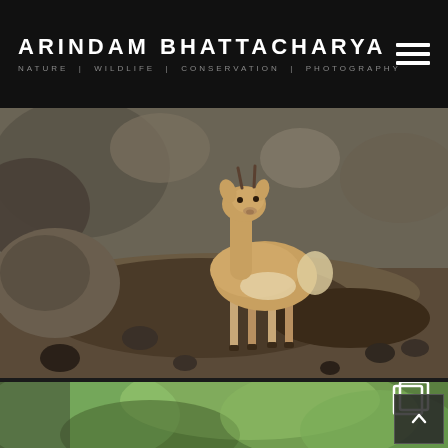ARINDAM BHATTACHARYA — Nature | Wildlife | Conservation | Photography
[Figure (photo): A young deer or blackbuck standing on a rocky, earthen hillside, looking directly at the camera. Rocky terrain with boulders in the background.]
[Figure (photo): A blurred/defocused photograph with green foliage bokeh, partially visible at the bottom of the page. A gallery icon and back-to-top button are overlaid.]